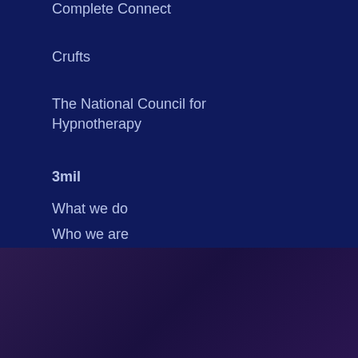Complete Connect
Crufts
The National Council for Hypnotherapy
3mil
What we do
Who we are
We use cookies on our website to give you the best experience on our website. If you continue to use this site we will assume you're happy. Read More
Accept All   Reject All